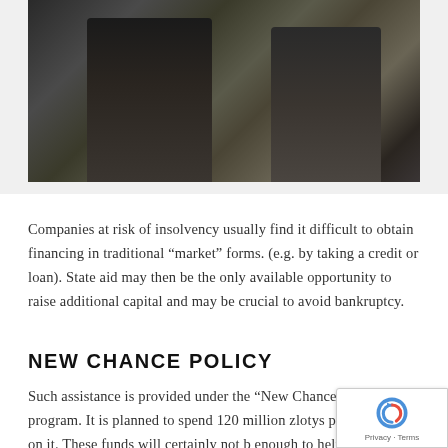[Figure (photo): Two business professionals walking, photographed from waist down, wearing formal attire including dark trousers, a red tie visible on one person]
Companies at risk of insolvency usually find it difficult to obtain financing in traditional “market” forms. (e.g. by taking a credit or loan). State aid may then be the only available opportunity to raise additional capital and may be crucial to avoid bankruptcy.
NEW CHANCE POLICY
Such assistance is provided under the “New Chance Policy” program. It is planned to spend 120 million zlotys per year on it. These funds will certainly not be enough to help all companies in difficulty. Their